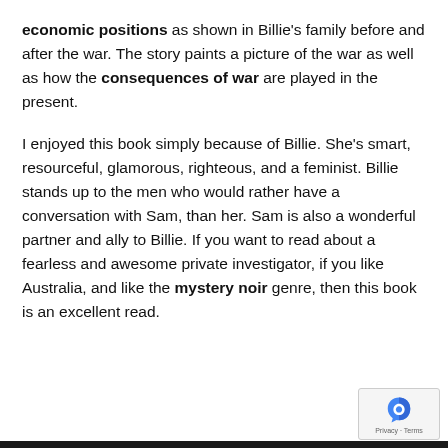economic positions as shown in Billie's family before and after the war. The story paints a picture of the war as well as how the consequences of war are played in the present.
I enjoyed this book simply because of Billie. She's smart, resourceful, glamorous, righteous, and a feminist. Billie stands up to the men who would rather have a conversation with Sam, than her. Sam is also a wonderful partner and ally to Billie. If you want to read about a fearless and awesome private investigator, if you like Australia, and like the mystery noir genre, then this book is an excellent read.